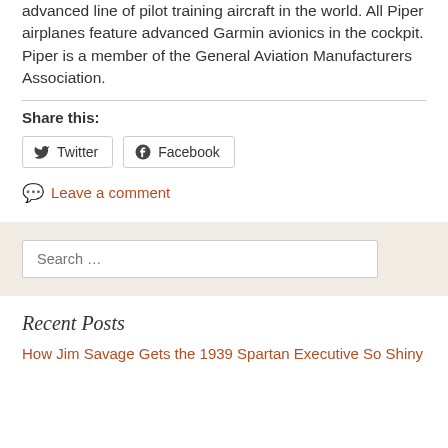advanced line of pilot training aircraft in the world. All Piper airplanes feature advanced Garmin avionics in the cockpit. Piper is a member of the General Aviation Manufacturers Association.
Share this:
[Figure (other): Twitter and Facebook share buttons]
Leave a comment
Search …
Recent Posts
How Jim Savage Gets the 1939 Spartan Executive So Shiny